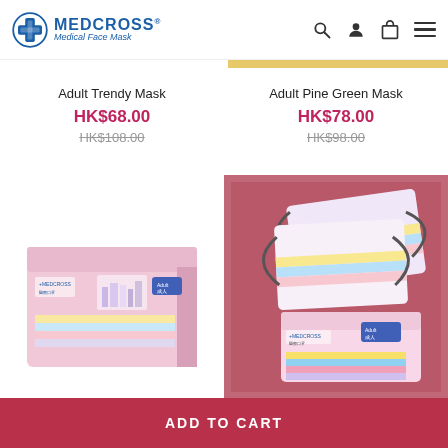[Figure (logo): Medcross Medical Face Mask logo — blue cross icon with brand name]
Adult Trendy Mask
HK$68.00
HK$108.00
Adult Pine Green Mask
HK$78.00
HK$98.00
[Figure (photo): Pink box of Medcross Adult Trendy Mask on white background]
[Figure (photo): Medcross Adult Trendy Mask showing individual masks fanned out, on pink background, with product box]
ADD TO CART